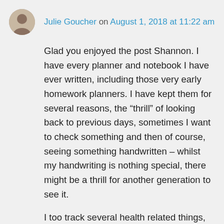Julie Goucher on August 1, 2018 at 11:22 am
Glad you enjoyed the post Shannon. I have every planner and notebook I have ever written, including those very early homework planners. I have kept them for several reasons, the “thrill” of looking back to previous days, sometimes I want to check something and then of course, seeing something handwritten – whilst my handwriting is nothing special, there might be a thrill for another generation to see it.
I too track several health related things, one of which has an alternating dose which you can see in one of the examples. I track my blood test appointments & results and